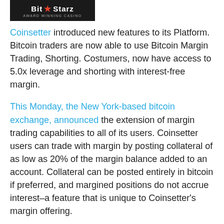[Figure (logo): BitStarz Award Winning Casino logo — dark background with white and red star text]
Coinsetter introduced new features to its Platform. Bitcoin traders are now able to use Bitcoin Margin Trading, Shorting. Costumers, now have access to 5.0x leverage and shorting with interest-free margin.
This Monday, the New York-based bitcoin exchange, announced the extension of margin trading capabilities to all of its users. Coinsetter users can trade with margin by posting collateral of as low as 20% of the margin balance added to an account. Collateral can be posted entirely in bitcoin if preferred, and margined positions do not accrue interest–a feature that is unique to Coinsetter's margin offering.
Jaron Lukasiewicz, Coinsetter CEO said: